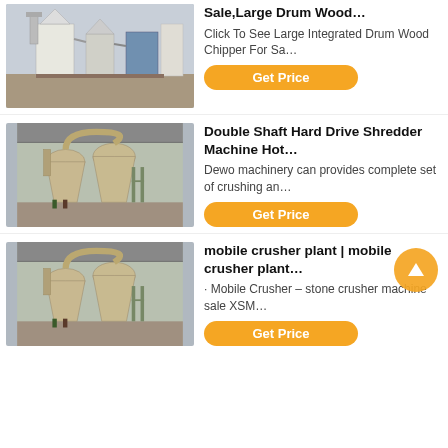[Figure (photo): Industrial grinding/milling machine in a factory setting, white machinery with pipes and silos]
Sale,Large Drum Wood…
Click To See Large Integrated Drum Wood Chipper For Sa…
Get Price
[Figure (photo): Industrial cyclone dust collectors / shredder machines in a large warehouse, beige/tan colored equipment with workers visible]
Double Shaft Hard Drive Shredder Machine Hot…
Dewo machinery can provides complete set of crushing an…
Get Price
[Figure (photo): Same or similar industrial cyclone dust collectors / crusher plant in warehouse, beige/tan equipment with workers]
mobile crusher plant | mobile crusher plant…
· Mobile Crusher – stone crusher machine sale XSM…
Get Price